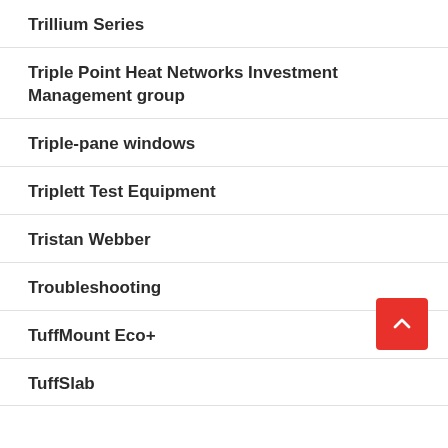Trillium Series
Triple Point Heat Networks Investment Management group
Triple-pane windows
Triplett Test Equipment
Tristan Webber
Troubleshooting
TuffMount Eco+
TuffSlab